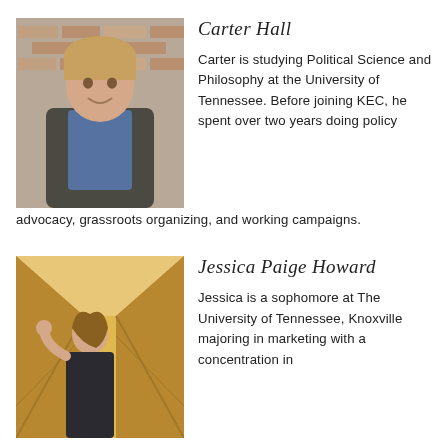[Figure (photo): Headshot of Carter Hall, a young man in a suit jacket and blue shirt, smiling, against a brick wall background]
Carter Hall
Carter is studying Political Science and Philosophy at the University of Tennessee. Before joining KEC, he spent over two years doing policy advocacy, grassroots organizing, and working campaigns.
[Figure (photo): Photo of Jessica Paige Howard, a young woman in a dark outfit standing in a hallway with warm lighting]
Jessica Paige Howard
Jessica is a sophomore at The University of Tennessee, Knoxville majoring in marketing with a concentration in